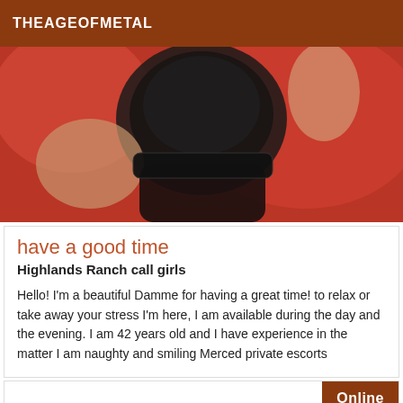THEAGEOFMETAL
[Figure (photo): Close-up photo of a person wearing black lace lingerie/stockings lying on red bedding/pillows]
have a good time
Highlands Ranch call girls
Hello! I'm a beautiful Damme for having a great time! to relax or take away your stress I'm here, I am available during the day and the evening. I am 42 years old and I have experience in the matter I am naughty and smiling Merced private escorts
Online